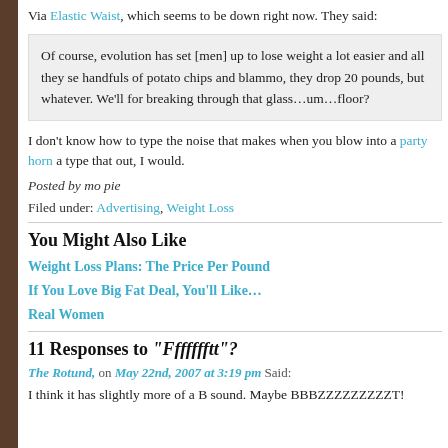Via Elastic Waist, which seems to be down right now. They said:
Of course, evolution has set [men] up to lose weight a lot easier and all they se handfuls of potato chips and blammo, they drop 20 pounds, but whatever. We'll for breaking through that glass…um…floor?
I don't know how to type the noise that makes when you blow into a party horn a type that out, I would.
Posted by mo pie
Filed under: Advertising, Weight Loss
You Might Also Like
Weight Loss Plans: The Price Per Pound
If You Love Big Fat Deal, You'll Like…
Real Women
11 Responses to Maybe "Ffffffftt"?
The Rotund, on May 22nd, 2007 at 3:19 pm Said:
I think it has slightly more of a B sound. Maybe BBBZZZZZZZZZT!